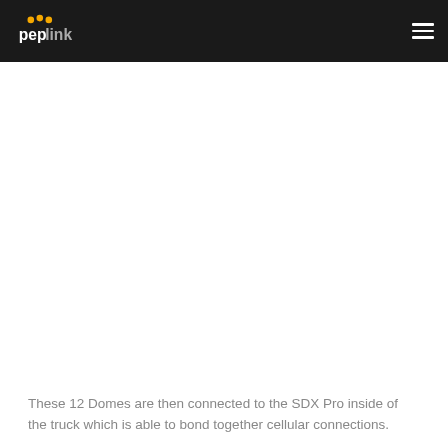peplink [logo and navigation]
These 12 Domes are then connected to the SDX Pro inside of the truck which is able to bond together cellular connections.